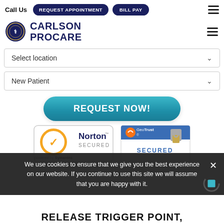Call Us  REQUEST APPOINTMENT  BILL PAY
[Figure (logo): Carlson ProCare logo with circular emblem and bold navy text reading CARLSON PROCARE]
Select location
New Patient
REQUEST NOW!
[Figure (illustration): Norton Secured badge powered by Symantec - orange and white circular checkmark logo]
[Figure (illustration): GeoTrust Secured badge with blue arrow logo and padlock icon]
We use cookies to ensure that we give you the best experience on our website. If you continue to use this site we will assume that you are happy with it.
RELEASE TRIGGER POINT, IMPROVE CIRCULATION,